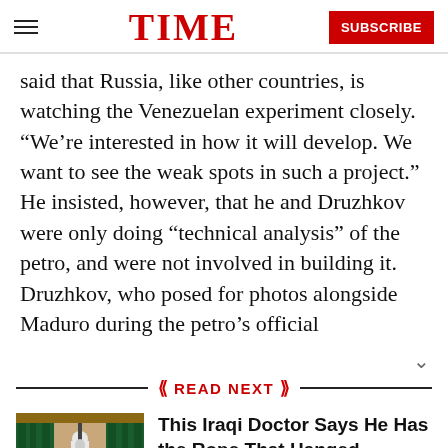TIME  SUBSCRIBE
said that Russia, like other countries, is watching the Venezuelan experiment closely. “We’re interested in how it will develop. We want to see the weak spots in such a project.” He insisted, however, that he and Druzhkov were only doing “technical analysis” of the petro, and were not involved in building it. Druzhkov, who posed for photos alongside Maduro during the petro’s official
READ NEXT
This Iraqi Doctor Says He Has the Rope That Hanged Saddam Hussein. Here’s Why He’s Keeping It